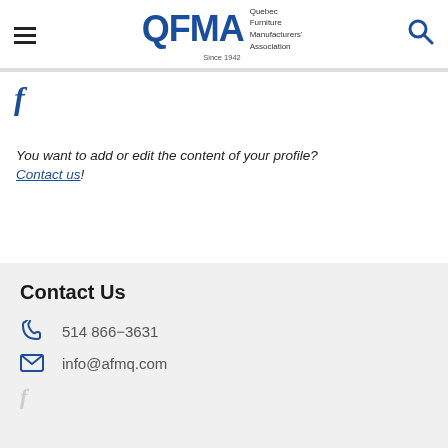QFMA Quebec Furniture Manufacturers' Association Since 1942
[Figure (logo): Facebook 'f' icon in blue]
You want to add or edit the content of your profile? Contact us!
Contact Us
514 866-3631
info@afmq.com